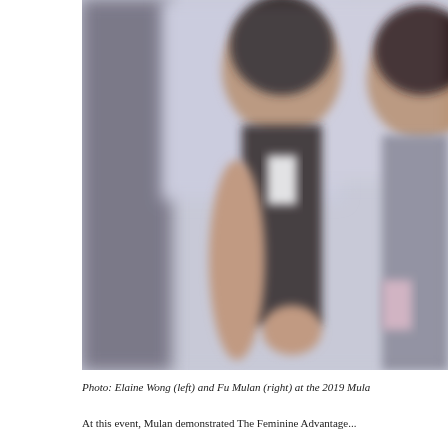[Figure (photo): A blurry photo of two women at an event. The woman on the left (Elaine Wong) is smiling and wearing a black sleeveless top with a lanyard. The woman on the right (Fu Mulan) is partially visible holding something. The background appears to be an event backdrop.]
Photo: Elaine Wong (left) and Fu Mulan (right) at the 2019 Mula...
At this event, Mulan demonstrated The Feminine Advantage...